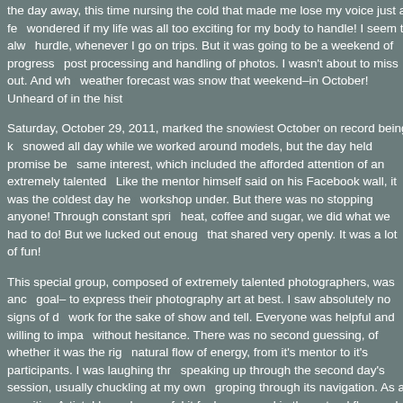the day away, this time nursing the cold that made me lose my voice just a few days before. I wondered if my life was all too exciting for my body to handle! I seem to always meet some hurdle, whenever I go on trips. But it was going to be a weekend of progressive learning, post processing and handling of photos. I wasn't about to miss out. And what about the weather forecast was snow that weekend–in October! Unheard of in the hist
Saturday, October 29, 2011, marked the snowiest October on record being kept. It snowed all day while we worked around models, but the day held promise because of the same interest, which included the afforded attention of an extremely talented group of people. Like the mentor himself said on his Facebook wall, it was the coldest day he had ever held a workshop under. But there was no stopping anyone! Through constant spring of portable heat, coffee and sugar, we did what we had to do! But we lucked out enough to have a group that shared very openly. It was a lot of fun!
This special group, composed of extremely talented photographers, was anchored on one goal– to express their photography art at best. I saw absolutely no signs of doing any of the work for the sake of show and tell. Everyone was helpful and willing to impart their knowledge without hesitance. There was no second guessing, of whether it was the right thing to do. A natural flow of energy, from it's mentor to it's participants. I was laughing throughout at myself speaking up through the second day's session, usually chuckling at my own ignorance while groping through its navigation. As a sensitive Artist, I know how awful it feels to not be able to respond in the natural flow and exchange of words and events! Have you ever met someone there making you do all the guesswork because they think it's cool to be so mysterious? You would think, more so for the withheld one.